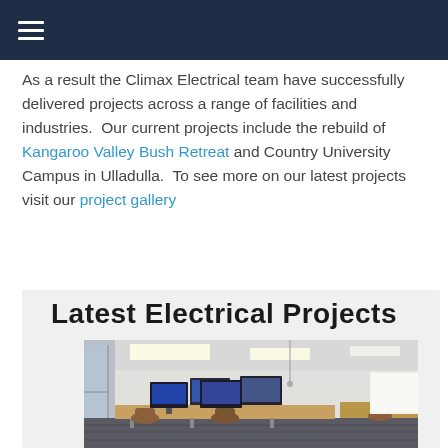Navigation menu
As a result the Climax Electrical team have successfully delivered projects across a range of facilities and industries.  Our current projects include the rebuild of Kangaroo Valley Bush Retreat and Country University Campus in Ulladulla.  To see more on our latest projects visit our project gallery
Latest Electrical Projects
[Figure (photo): Interior of a modern office or classroom with ceiling panel lights, glass partitions on the left, computer workstations with monitors on desks, and office chairs. Light grey walls and dark grey carpet flooring.]